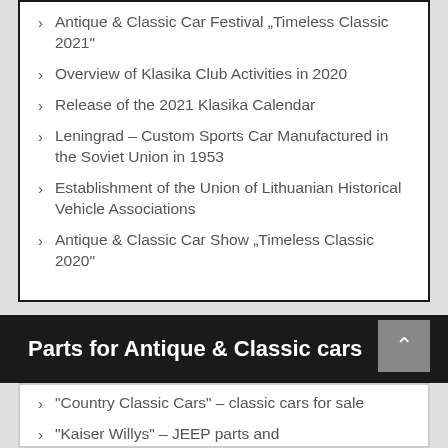Antique & Classic Car Festival „Timeless Classic 2021"
Overview of Klasika Club Activities in 2020
Release of the 2021 Klasika Calendar
Leningrad – Custom Sports Car Manufactured in the Soviet Union in 1953
Establishment of the Union of Lithuanian Historical Vehicle Associations
Antique & Classic Car Show „Timeless Classic 2020"
Parts for Antique & Classic cars
"Country Classic Cars" – classic cars for sale
"Kaiser Willys" – JEEP parts and